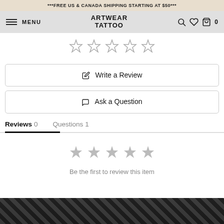***FREE US & CANADA SHIPPING STARTING AT $50***
ARTWEAR TATTOO — MENU — navigation bar
[Figure (other): Five outlined star icons in a row (rating stars, unrated)]
Write a Review
Ask a Question
Reviews 0   Questions 1
[Figure (other): Five gray star icons in a row (empty rating)]
Be the first to review this item
[Figure (photo): Partial black and white photo at bottom of page]